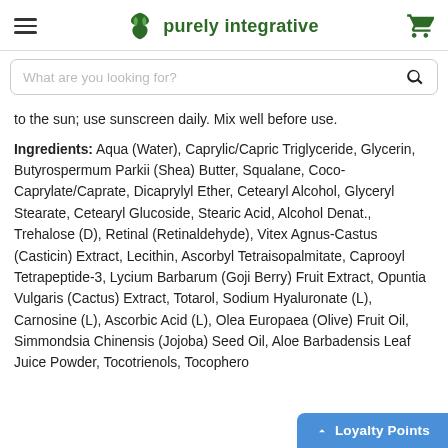purely integrative
What are you looking for?
to the sun; use sunscreen daily. Mix well before use.
Ingredients: Aqua (Water), Caprylic/Capric Triglyceride, Glycerin, Butyrospermum Parkii (Shea) Butter, Squalane, Coco-Caprylate/Caprate, Dicaprylyl Ether, Cetearyl Alcohol, Glyceryl Stearate, Cetearyl Glucoside, Stearic Acid, Alcohol Denat., Trehalose (D), Retinal (Retinaldehyde), Vitex Agnus-Castus (Casticin) Extract, Lecithin, Ascorbyl Tetraisopalmitate, Caprooyl Tetrapeptide-3, Lycium Barbarum (Goji Berry) Fruit Extract, Opuntia Vulgaris (Cactus) Extract, Totarol, Sodium Hyaluronate (L), Carnosine (L), Ascorbic Acid (L), Olea Europaea (Olive) Fruit Oil, Simmondsia Chinensis (Jojoba) Seed Oil, Aloe Barbadensis Leaf Juice Powder, Tocotrienols, Tocophero